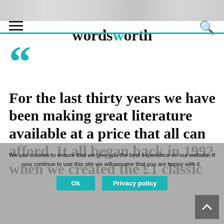wordsworth
[Figure (screenshot): Website screenshot of wordsworth.com showing page header with hamburger menu, site logo 'wordsworth', and search icon, with a teal horizontal rule below]
““ For the last thirty years we have been making great literature available at a price that all can afford. It all began back in 1992 when we created the £1 classic
We use cookies to ensure that we give you the best experience on our website. If you continue to use this site we will assume that you are happy with it. Ok  Privacy policy